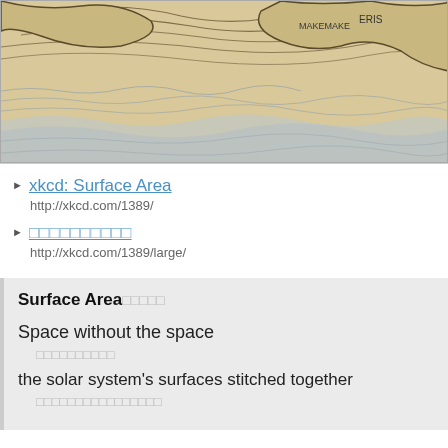[Figure (map): Partial map showing contour lines of solar system surface area with labels 'MAKEMAKE' and 'ERIS' on tan/beige background with dark outlines]
xkcd: Surface Area
http://xkcd.com/1389/
□□□□□□□□□□
http://xkcd.com/1389/large/
Surface Area□□□□□
Space without the space
□□□□□□□□□□
the solar system's surfaces stitched together
□□□□□□□□□□□□□□□□